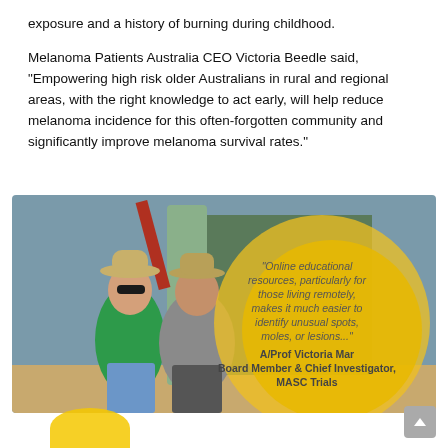exposure and a history of burning during childhood.

Melanoma Patients Australia CEO Victoria Beedle said, "Empowering high risk older Australians in rural and regional areas, with the right knowledge to act early, will help reduce melanoma incidence for this often-forgotten community and significantly improve melanoma survival rates."
[Figure (photo): Photo of two people (a woman in green top and hat with sunglasses, and an older man in grey top and hat) standing outdoors on a farm with grain silos in the background. Overlaid on the right side are two yellow/gold circles containing a quote: 'Online educational resources, particularly for those living remotely, makes it much easier to identify unusual spots, moles, or lesions...' attributed to A/Prof Victoria Mar, Board Member & Chief Investigator, MASC Trials.]